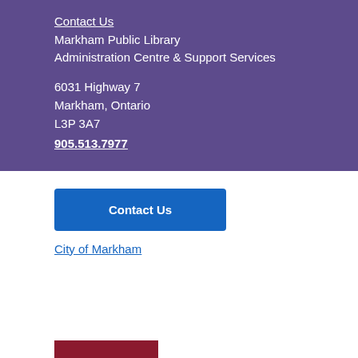Contact Us
Markham Public Library
Administration Centre & Support Services

6031 Highway 7
Markham, Ontario
L3P 3A7
905.513.7977
Contact Us
City of Markham